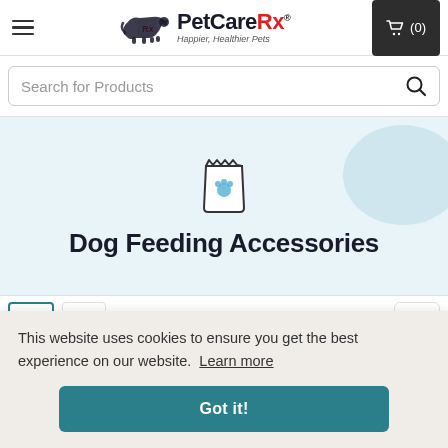PetCareRx — Happier, Healthier Pets
Search for Products
Dog Feeding Accessories
This website uses cookies to ensure you get the best experience on our website. Learn more
Got it!